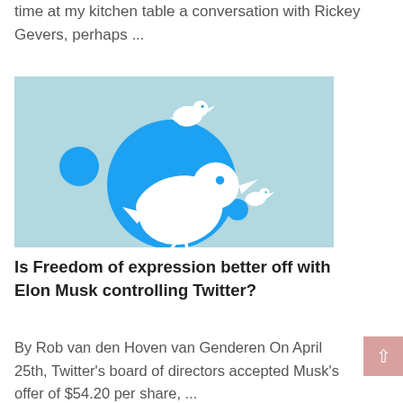time at my kitchen table a conversation with Rickey Gevers, perhaps ...
[Figure (illustration): Twitter bird logo illustration on light blue background with multiple bird silhouettes and blue circles of various sizes]
Is Freedom of expression better off with Elon Musk controlling Twitter?
By Rob van den Hoven van Genderen On April 25th, Twitter's board of directors accepted Musk's offer of $54.20 per share, ...